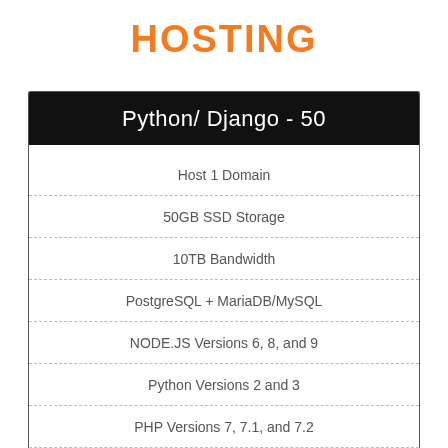HOSTING
| Python/ Django - 50 |
| --- |
| Host 1 Domain |
| 50GB SSD Storage |
| 10TB Bandwidth |
| PostgreSQL + MariaDB/MySQL |
| NODE.JS Versions 6, 8, and 9 |
| Python Versions 2 and 3 |
| PHP Versions 7, 7.1, and 7.2 |